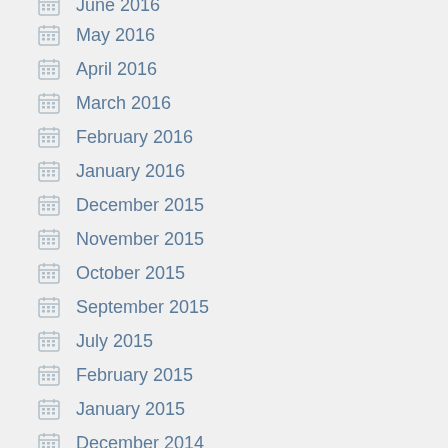June 2016
May 2016
April 2016
March 2016
February 2016
January 2016
December 2015
November 2015
October 2015
September 2015
July 2015
February 2015
January 2015
December 2014
October 2014